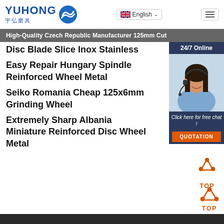[Figure (logo): Yuhong logo with blue wave icon and Chinese text 宇弘磨具]
English
High-Quality Czech Republic Manufacturer 125mm Cut Disc Blade Slice Inox Stainless
High-Quality Czech Republic Manufacturer 125mm Cut Disc Blade Slice Inox Stainless
Easy Repair Hungary Spindle Reinforced Wheel Metal
Seiko Romania Cheap 125x6mm Grinding Wheel
Extremely Sharp Albania Miniature Reinforced Disc Wheel Metal
[Figure (photo): Customer service representative with headset, smiling, with 24/7 Online label and Click here for free chat and QUOTATION button]